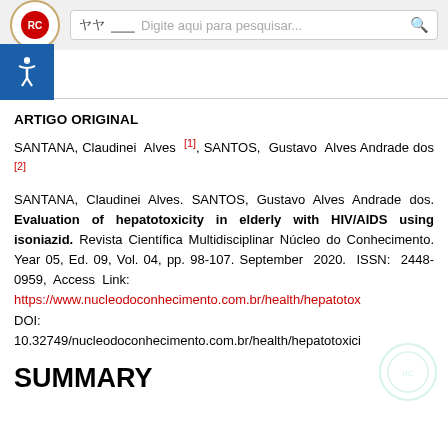Digite aqui para pesquisar...
ARTIGO ORIGINAL
SANTANA, Claudinei Alves [1], SANTOS, Gustavo Alves Andrade dos [2]
SANTANA, Claudinei Alves. SANTOS, Gustavo Alves Andrade dos. Evaluation of hepatotoxicity in elderly with HIV/AIDS using isoniazid. Revista Científica Multidisciplinar Núcleo do Conhecimento. Year 05, Ed. 09, Vol. 04, pp. 98-107. September 2020. ISSN: 2448-0959, Access Link: https://www.nucleodoconhecimento.com.br/health/hepatotox DOI: 10.32749/nucleodoconhecimento.com.br/health/hepatotoxici
SUMMARY